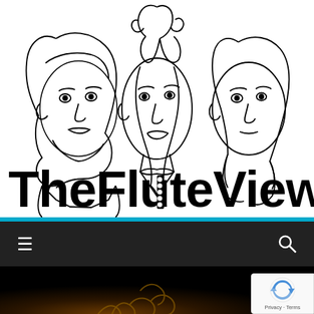[Figure (logo): The Flute View logo: line-art illustration of three women's faces above bold black text reading 'The Flute View' with a flute key detail on the letter 'l']
[Figure (screenshot): Dark navigation bar with hamburger menu icon on the left and search icon on the right, on a dark/black background with a cyan accent bar above]
[Figure (photo): Partial photo of a person with curly hair against a dark background, bottom of page]
[Figure (other): Google reCAPTCHA badge showing the reCAPTCHA logo and 'Privacy - Terms' text]